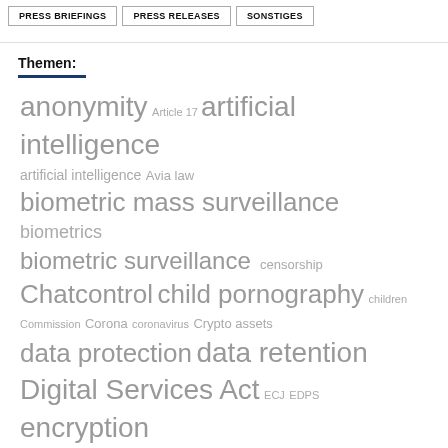PRESS BRIEFINGS | PRESS RELEASES | SONSTIGES
Themen:
anonymity
Article 17
artificial intelligence
artificial intelligence
Avia law
biometric mass surveillance
biometrics
biometric surveillance
censorship
Chatcontrol
child pornography
children
Commission
Corona
coronavirus
Crypto assets
data protection
data retention
Digital Services Act
ECJ
EDPS
encryption